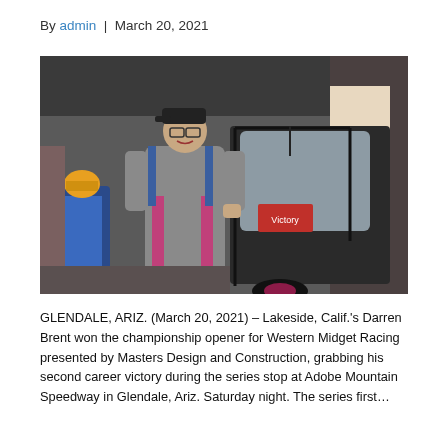By admin | March 20, 2021
[Figure (photo): A racing driver in a gray and pink firesuit and black cap standing next to a midget race car in a pit/garage area.]
GLENDALE, ARIZ. (March 20, 2021) – Lakeside, Calif.'s Darren Brent won the championship opener for Western Midget Racing presented by Masters Design and Construction, grabbing his second career victory during the series stop at Adobe Mountain Speedway in Glendale, Ariz. Saturday night. The series first …